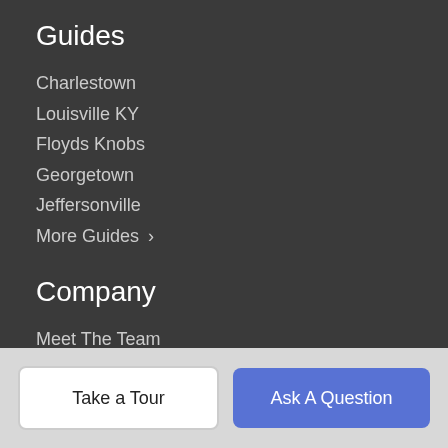Guides
Charlestown
Louisville KY
Floyds Knobs
Georgetown
Jeffersonville
More Guides >
Company
Meet The Team
Our Blog
Contact Us
Resources
Take a Tour
Ask A Question